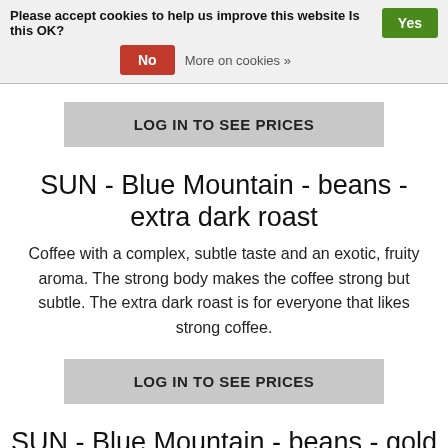Please accept cookies to help us improve this website Is this OK?   Yes
No   More on cookies »
LOG IN TO SEE PRICES
SUN - Blue Mountain - beans - extra dark roast
Coffee with a complex, subtle taste and an exotic, fruity aroma. The strong body makes the coffee strong but subtle. The extra dark roast is for everyone that likes strong coffee.
LOG IN TO SEE PRICES
SUN - Blue Mountain - beans - gold roast *
Coffee with a complex, subtle taste and a fruity, exotic aroma. The strong body makes the coffee strong but subtle. This roast is a bit